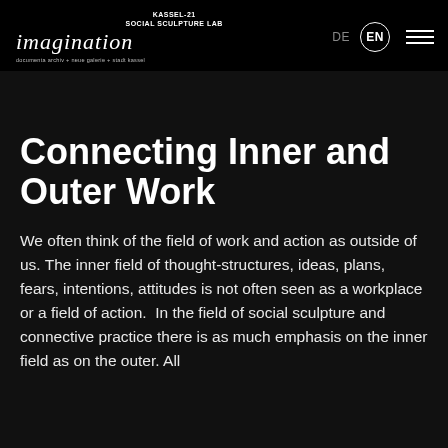KASSEL-21 SOCIAL SCULPTURE LAB imagination documenta archiv + neue galerie + stadt kassel | DE | EN
Connecting Inner and Outer Work
We often think of the field of work and action as outside of us. The inner field of thought-structures, ideas, plans, fears, intentions, attitudes is not often seen as a workplace or a field of action.  In the field of social sculpture and connective practice there is as much emphasis on the inner field as on the outer. All